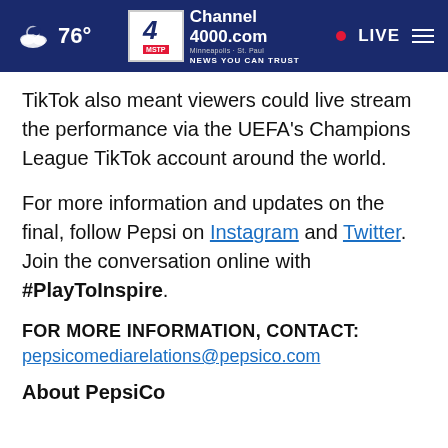76° Channel 4000.com Minneapolis · St. Paul NEWS YOU CAN TRUST LIVE
TikTok also meant viewers could live stream the performance via the UEFA's Champions League TikTok account around the world.
For more information and updates on the final, follow Pepsi on Instagram and Twitter. Join the conversation online with #PlayToInspire.
FOR MORE INFORMATION, CONTACT:
pepsicomediarelations@pepsico.com
About PepsiCo